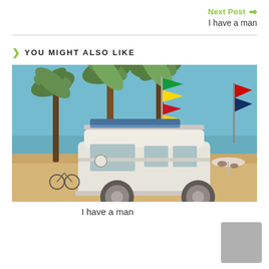Next Post →
I have a man
YOU MIGHT ALSO LIKE
[Figure (photo): A vintage VW van parked near a tropical beach with palm trees, colorful flags on a flagpole, and people with umbrellas in the background under a blue sky.]
I have a man